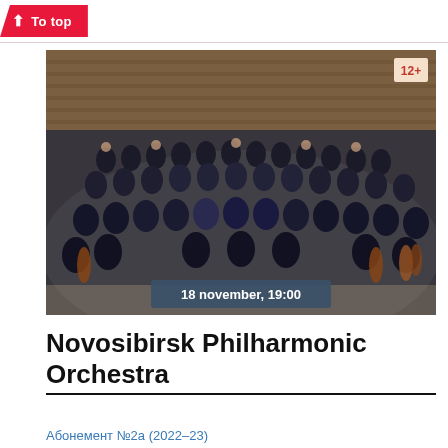↑ To top
[Figure (photo): Group photo of the Novosibirsk Philharmonic Orchestra musicians in formal attire (black suits and navy dresses) posed in a concert hall with rows of audience seats in the background. Age rating badge '12+' in top right corner. Date overlay '18 november, 19:00' at bottom center.]
Novosibirsk Philharmonic Orchestra
Абонемент №2а (2022–23)